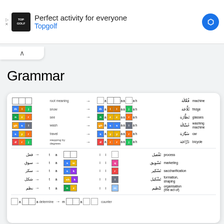[Figure (screenshot): Advertisement banner for Topgolf: 'Perfect activity for everyone' with Topgolf logo]
Grammar
[Figure (infographic): Arabic grammar pattern chart showing root meanings, patterns with colored letter boxes, Arabic words, and English translations including: machine, fridge, glasses, washing machine, car, bicycle, process, marketing, saccharification, formation/shaping, organisation (the act of)]